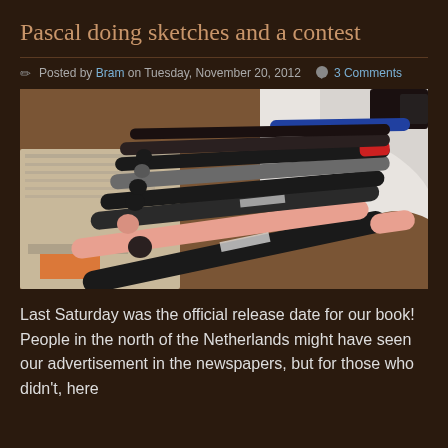Pascal doing sketches and a contest
Posted by Bram on Tuesday, November 20, 2012   3 Comments
[Figure (photo): A collection of art markers and pens (Posca markers and similar) laid out on newspaper/paper, showing various colors including black, pink, and blue, with a white tissue/cloth in the background]
Last Saturday was the official release date for our book! People in the north of the Netherlands might have seen our advertisement in the newspapers, but for those who didn't, here